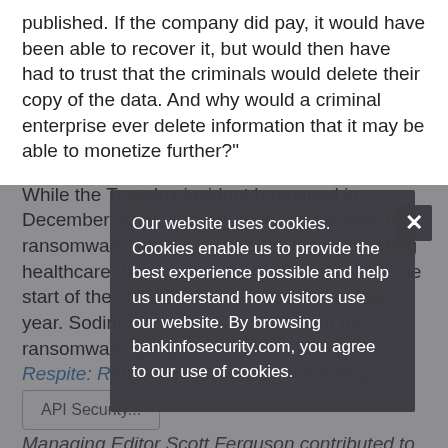published. If the company did pay, it would have been able to recover it, but would then have had to trust that the criminals would delete their copy of the data. And why would a criminal enterprise ever delete information that it may be able to monetize further?"
While the Travelex incident happened in December 2019, security researchers note that ransomware attacks, especially those targeting healthcare, have gone up significantly since the start of the COVID-19 pandemic earlier this year. Sodinokibi is the most prolific of the ransomware gangs (see: No COVID-19 Respite: Ransomware Keeps Pummeling Healthcare).
Managing Editor Scott Ferguson contributed to this report
API Security...
Our website uses cookies. Cookies enable us to provide the best experience possible and help us understand how visitors use our website. By browsing bankinfosecurity.com, you agree to our use of cookies.